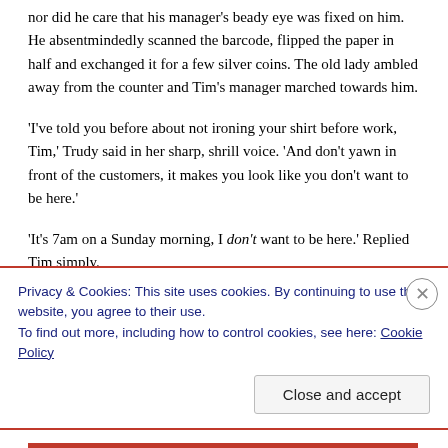nor did he care that his manager's beady eye was fixed on him. He absentmindedly scanned the barcode, flipped the paper in half and exchanged it for a few silver coins. The old lady ambled away from the counter and Tim's manager marched towards him.
'I've told you before about not ironing your shirt before work, Tim,' Trudy said in her sharp, shrill voice. 'And don't yawn in front of the customers, it makes you look like you don't want to be here.'
'It's 7am on a Sunday morning, I don't want to be here.' Replied Tim simply.
Trudy sighed, unable to find the energy to argue with her
Privacy & Cookies: This site uses cookies. By continuing to use this website, you agree to their use.
To find out more, including how to control cookies, see here: Cookie Policy
Close and accept